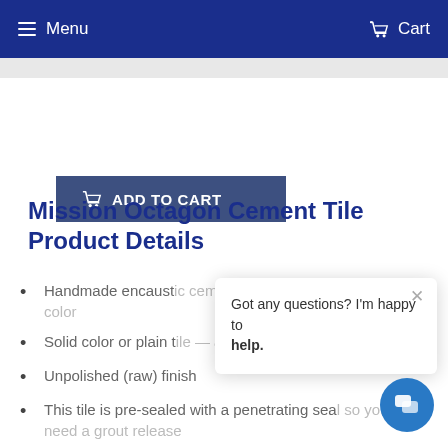Menu  Cart
[Figure (screenshot): Add to Cart button with shopping cart icon]
Mission Octagon Cement Tile Product Details
Handmade encaust[ic cement tile — natural variation in color]
Solid color or plain t[ile — available in] the Mission Palette
Unpolished (raw) finish
This tile is pre-sealed with a penetrating sea[l so] you don't need a grout release
[Figure (screenshot): Chat popup overlay: 'Got any questions? I'm happy to help.' with close X button and blue chat bubble icon]